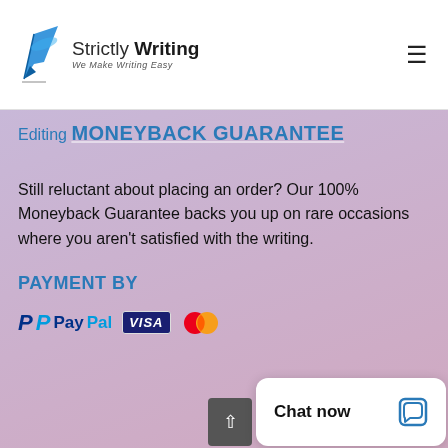Strictly Writing — We Make Writing Easy
Editing
MONEYBACK GUARANTEE
Still reluctant about placing an order? Our 100% Moneyback Guarantee backs you up on rare occasions where you aren't satisfied with the writing.
PAYMENT BY
[Figure (logo): PayPal logo, VISA logo, and Mastercard logo for payment options]
[Figure (screenshot): Chat now overlay widget with speech bubble icon]